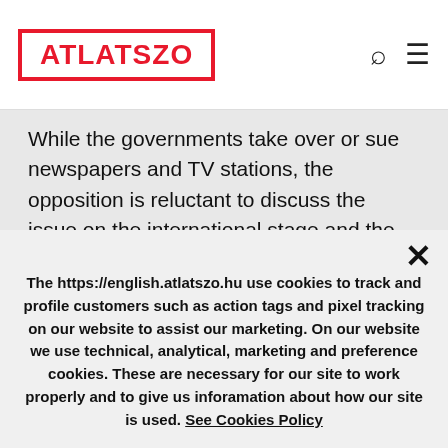ATLATSZO
While the governments take over or sue newspapers and TV stations, the opposition is reluctant to discuss the issue on the international stage and the EU lacks
The https://english.atlatszo.hu use cookies to track and profile customers such as action tags and pixel tracking on our website to assist our marketing. On our website we use technical, analytical, marketing and preference cookies. These are necessary for our site to work properly and to give us inforamation about how our site is used. See Cookies Policy